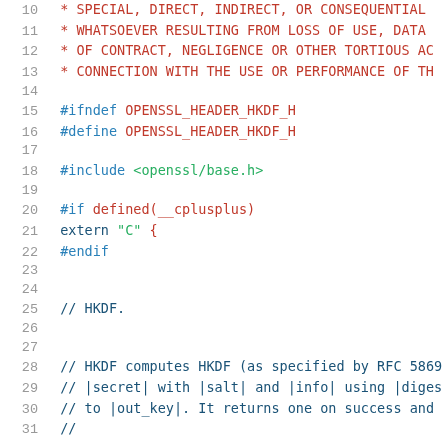Source code listing: hkdf.h header file, lines 10-31
10   * SPECIAL, DIRECT, INDIRECT, OR CONSEQUENTIAL
11   * WHATSOEVER RESULTING FROM LOSS OF USE, DATA
12   * OF CONTRACT, NEGLIGENCE OR OTHER TORTIOUS AC
13   * CONNECTION WITH THE USE OR PERFORMANCE OF TH
14
15   #ifndef OPENSSL_HEADER_HKDF_H
16   #define OPENSSL_HEADER_HKDF_H
17
18   #include <openssl/base.h>
19
20   #if defined(__cplusplus)
21   extern "C" {
22   #endif
23
24
25   // HKDF.
26
27
28   // HKDF computes HKDF (as specified by RFC 5869
29   // |secret| with |salt| and |info| using |diges
30   // to |out_key|. It returns one on success and
31   //